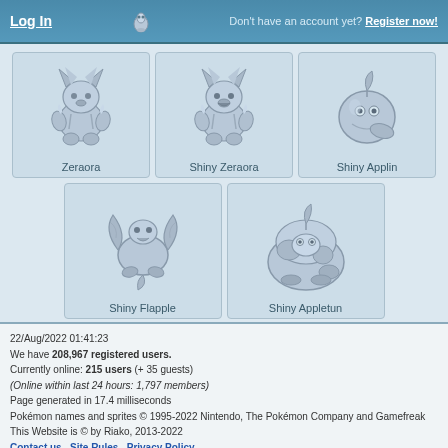Log In | Don't have an account yet? Register now!
[Figure (illustration): Five Pokemon illustrations in a grid: Zeraora, Shiny Zeraora, Shiny Applin (top row), Shiny Flapple and Shiny Appletun (bottom row), all rendered in blue-gray monochrome]
22/Aug/2022 01:41:23
We have 208,967 registered users.
Currently online: 215 users (+ 35 guests)
(Online within last 24 hours: 1,797 members)
Page generated in 17.4 milliseconds
Pokémon names and sprites © 1995-2022 Nintendo, The Pokémon Company and Gamefreak
This Website is © by Riako, 2013-2022
Contact us  Site Rules  Privacy Policy